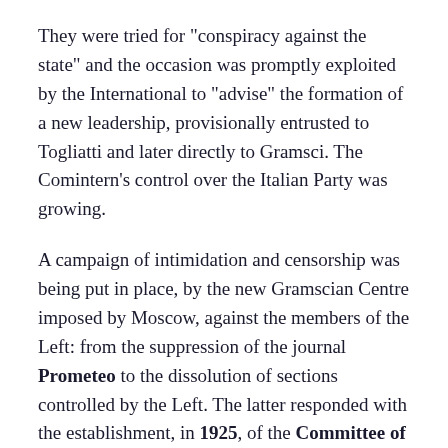They were tried for "conspiracy against the state" and the occasion was promptly exploited by the International to "advise" the formation of a new leadership, provisionally entrusted to Togliatti and later directly to Gramsci. The Comintern's control over the Italian Party was growing.
A campaign of intimidation and censorship was being put in place, by the new Gramscian Centre imposed by Moscow, against the members of the Left: from the suppression of the journal Prometeo to the dissolution of sections controlled by the Left. The latter responded with the establishment, in 1925, of the Committee of Intesa¹ as the first wake-up call against the class distortion of the Party. Around the Committee, the most traditional and efficient cadres of the Italian Left gathered to defend, as the majority current, their